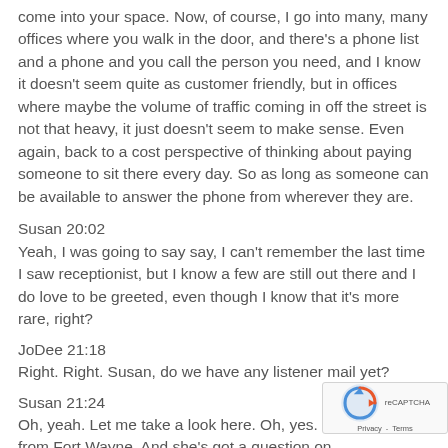come into your space. Now, of course, I go into many, many offices where you walk in the door, and there's a phone list and a phone and you call the person you need, and I know it doesn't seem quite as customer friendly, but in offices where maybe the volume of traffic coming in off the street is not that heavy, it just doesn't seem to make sense. Even again, back to a cost perspective of thinking about paying someone to sit there every day. So as long as someone can be available to answer the phone from wherever they are.
Susan 20:02
Yeah, I was going to say say, I can't remember the last time I saw receptionist, but I know a few are still out there and I do love to be greeted, even though I know that it's more rare, right?
JoDee 21:18
Right. Right. Susan, do we have any listener mail yet?
Susan 21:24
Oh, yeah. Let me take a look here. Oh, yes. We've got Julia from Fort Wayne. And she's got a question on